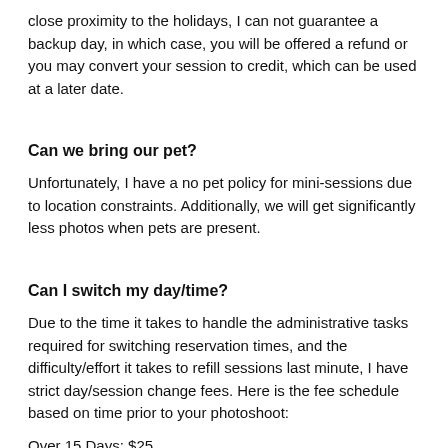close proximity to the holidays, I can not guarantee a backup day, in which case, you will be offered a refund or you may convert your session to credit, which can be used at a later date.
Can we bring our pet?
Unfortunately, I have a no pet policy for mini-sessions due to location constraints. Additionally, we will get significantly less photos when pets are present.
Can I switch my day/time?
Due to the time it takes to handle the administrative tasks required for switching reservation times, and the difficulty/effort it takes to refill sessions last minute, I have strict day/session change fees. Here is the fee schedule based on time prior to your photoshoot:
Over 15 Days: $25
7-14 Days: $50
2-6 Days: $100